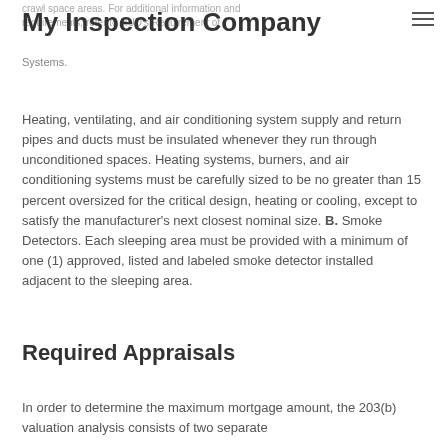My Inspection Company
crawl space areas. For additional information and requirements, refer to HUD's Requirement of Systems.
Heating, ventilating, and air conditioning system supply and return pipes and ducts must be insulated whenever they run through unconditioned spaces. Heating systems, burners, and air conditioning systems must be carefully sized to be no greater than 15 percent oversized for the critical design, heating or cooling, except to satisfy the manufacturer's next closest nominal size. B. Smoke Detectors. Each sleeping area must be provided with a minimum of one (1) approved, listed and labeled smoke detector installed adjacent to the sleeping area.
Required Appraisals
In order to determine the maximum mortgage amount, the 203(b) valuation analysis consists of two separate